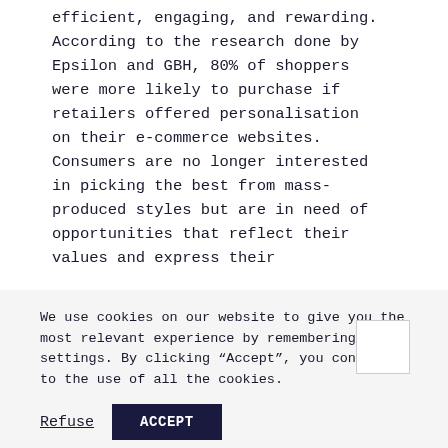efficient, engaging, and rewarding. According to the research done by Epsilon and GBH, 80% of shoppers were more likely to purchase if retailers offered personalisation on their e-commerce websites. Consumers are no longer interested in picking the best from mass-produced styles but are in need of opportunities that reflect their values and express their
We use cookies on our website to give you the most relevant experience by remembering your settings. By clicking “Accept”, you consent to the use of all the cookies.
Refuse
ACCEPT